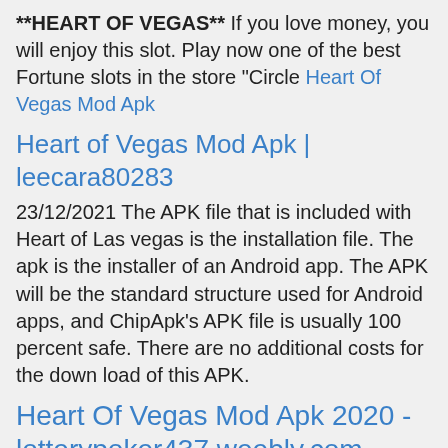**HEART OF VEGAS** If you love money, you will enjoy this slot. Play now one of the best Fortune slots in the store "Circle Heart Of Vegas Mod Apk
Heart of Vegas Mod Apk | leecara80283
23/12/2021 The APK file that is included with Heart of Las vegas is the installation file. The apk is the installer of an Android app. The APK will be the standard structure used for Android apps, and ChipApk's APK file is usually 100 percent safe. There are no additional costs for the down load of this APK.
Heart Of Vegas Mod Apk 2020 - lotterypoker437.weebly.com
Heart Of Vegas Apk Unlimited. Heart Of Vegas